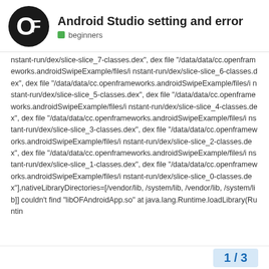Android Studio setting and error — beginners
nstant-run/dex/slice-slice_7-classes.dex", dex file "/data/data/cc.openframeworks.androidSwipeExample/files/instant-run/dex/slice-slice_6-classes.dex", dex file "/data/data/cc.openframeworks.androidSwipeExample/files/instant-run/dex/slice-slice_5-classes.dex", dex file "/data/data/cc.openframeworks.androidSwipeExample/files/instant-run/dex/slice-slice_4-classes.dex", dex file "/data/data/cc.openframeworks.androidSwipeExample/files/instant-run/dex/slice-slice_3-classes.dex", dex file "/data/data/cc.openframeworks.androidSwipeExample/files/instant-run/dex/slice-slice_2-classes.dex", dex file "/data/data/cc.openframeworks.androidSwipeExample/files/instant-run/dex/slice-slice_1-classes.dex", dex file "/data/data/cc.openframeworks.androidSwipeExample/files/instant-run/dex/slice-slice_0-classes.dex"],nativeLibraryDirectories=[/vendor/lib, /system/lib, /vendor/lib, /system/lib]] couldn't find "libOFAndroidApp.so" at java.lang.Runtime.loadLibrary(Runtin
1 / 3